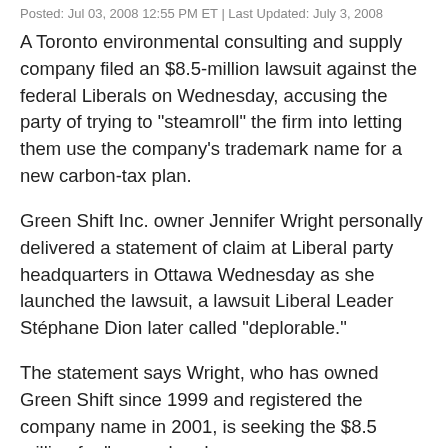Posted: Jul 03, 2008 12:55 PM ET | Last Updated: July 3, 2008
A Toronto environmental consulting and supply company filed an $8.5-million lawsuit against the federal Liberals on Wednesday, accusing the party of trying to "steamroll" the firm into letting them use the company's trademark name for a new carbon-tax plan.
Green Shift Inc. owner Jennifer Wright personally delivered a statement of claim at Liberal party headquarters in Ottawa Wednesday as she launched the lawsuit, a lawsuit Liberal Leader Stéphane Dion later called "deplorable."
The statement says Wright, who has owned Green Shift since 1999 and registered the company name in 2001, is seeking the $8.5 million for "general and